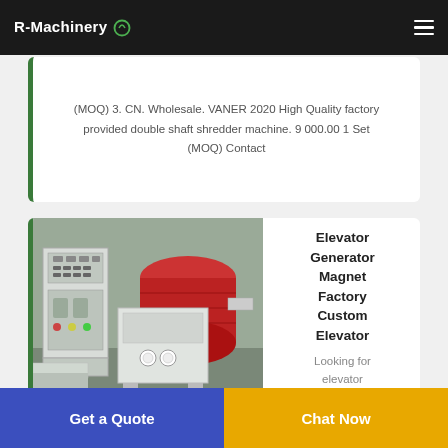R-Machinery
(MOQ) 3. CN. Wholesale. VANER 2020 High Quality factory provided double shaft shredder machine. 9 000.00 1 Set (MOQ) Contact
[Figure (photo): Industrial machine with control panel and red cylindrical component in a factory setting]
Elevator Generator Magnet Factory Custom Elevator
Looking for elevator
Get a Quote  |  Chat Now